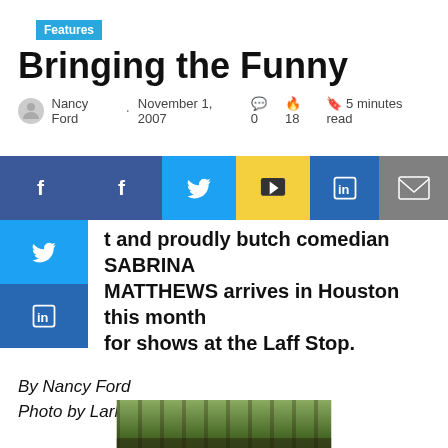Features
Bringing the Funny
Nancy Ford · November 1, 2007 💬 0 🔥 18 🔖 5 minutes read
[Figure (infographic): Social sharing bar with Facebook, Twitter, email (yellow), LinkedIn, and email (gray) buttons, plus vertical left-side floating icons for Facebook, Twitter, LinkedIn]
t and proudly butch comedian SABRINA MATTHEWS arrives in Houston this month for shows at the Laff Stop.
By Nancy Ford
Photo by Larke Miller
[Figure (photo): Partial photo at bottom of page showing a person outdoors with foliage in background]